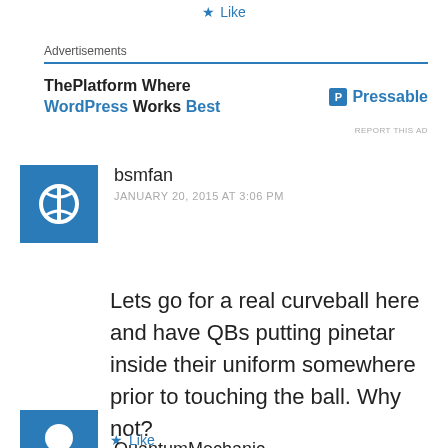Like
[Figure (screenshot): Advertisement banner: ThePlatform Where WordPress Works Best - Pressable]
bsmfan
JANUARY 20, 2015 AT 3:06 PM
Lets go for a real curveball here and have QBs putting pinetar inside their uniform somewhere prior to touching the ball. Why not?
Like
QuantumMechanic